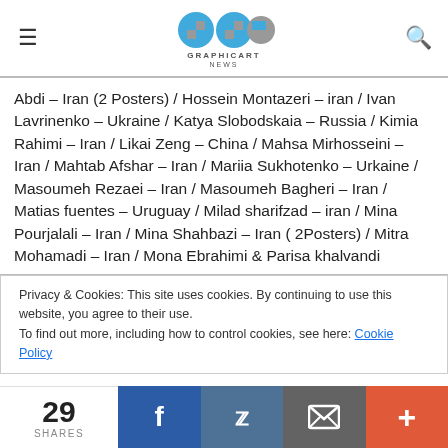GRAPHICART NEWS
Abdi – Iran (2 Posters) / Hossein Montazeri – iran / Ivan Lavrinenko – Ukraine / Katya Slobodskaia – Russia / Kimia Rahimi – Iran / Likai Zeng – China / Mahsa Mirhosseini – Iran / Mahtab Afshar – Iran / Mariia Sukhotenko – Urkaine / Masoumeh Rezaei – Iran / Masoumeh Bagheri – Iran / Matias fuentes – Uruguay / Milad sharifzad – iran / Mina Pourjalali – Iran / Mina Shahbazi – Iran ( 2Posters) / Mitra Mohamadi – Iran / Mona Ebrahimi & Parisa khalvandi
Privacy & Cookies: This site uses cookies. By continuing to use this website, you agree to their use.
To find out more, including how to control cookies, see here: Cookie Policy